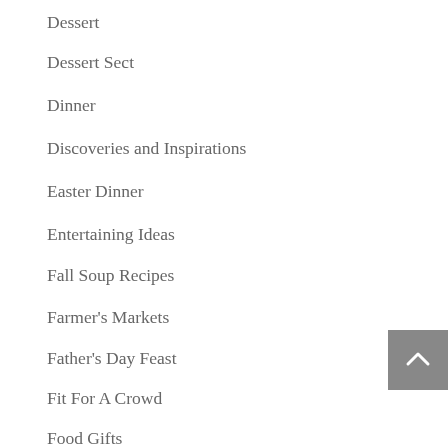Dessert
Dessert Sect
Dinner
Discoveries and Inspirations
Easter Dinner
Entertaining Ideas
Fall Soup Recipes
Farmer's Markets
Father's Day Feast
Fit For A Crowd
Food Gifts